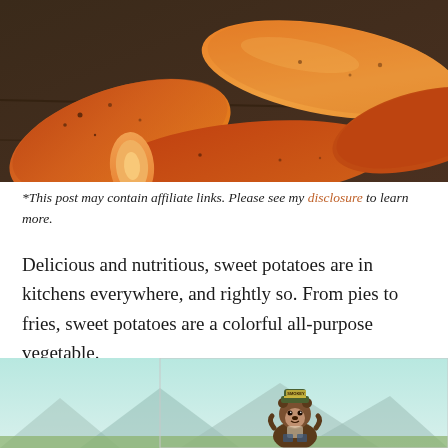[Figure (photo): Close-up photo of raw sweet potatoes with orange-brown skin on a dark surface]
*This post may contain affiliate links. Please see my disclosure to learn more.
Delicious and nutritious, sweet potatoes are in kitchens everywhere, and rightly so. From pies to fries, sweet potatoes are a colorful all-purpose vegetable.
Whether you’re baking, boiling, or BBQing your sweet potatoes, black spots can be concerning and unappetizing.
[Figure (illustration): Smokey Bear advertisement banner at the bottom of the page]